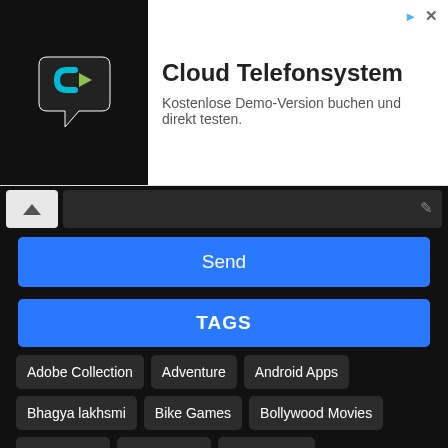[Figure (logo): Cloud Telefonsystem ad banner with dark background chat bubble logo icon, title 'Cloud Telefonsystem' and subtitle 'Kostenlose Demo-Version buchen und direkt testen.']
Send
TAGS
Adobe Collection
Adventure
Android Apps
Bhagya lakhsmi
Bike Games
Bollywood Movies
Call of Duty
Car Games
Earn Money
Fifa Collection
Fighting
Fps
Games
Go
Google Adsense
Govt jobs
GTA Collection
Hindi Dubbed
Hollywood moives
Horror Games
IDM
Kundali Bhagya
Latest Dramas
Latest Movies
Microsoft
Need For Speed